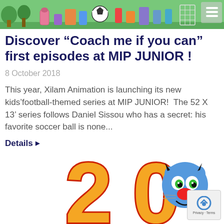[Figure (illustration): Cartoon animation banner header with colorful game-themed characters, items and soccer ball on a green background, with hamburger menu icon in top right corner]
Discover “Coach me if you can” first episodes at MIP JUNIOR !
8 October 2018
This year, Xilam Animation is launching its new kids’football-themed series at MIP JUNIOR!  The 52 X 13’ series follows Daniel Sissou who has a secret: his favorite soccer ball is none...
Details ▶
[Figure (illustration): Bottom portion showing a large orange '20' anniversary logo with red outline, and a cartoon blue cat character (Oggy) with green eyes and red nose, plus reCAPTCHA badge in bottom right corner]